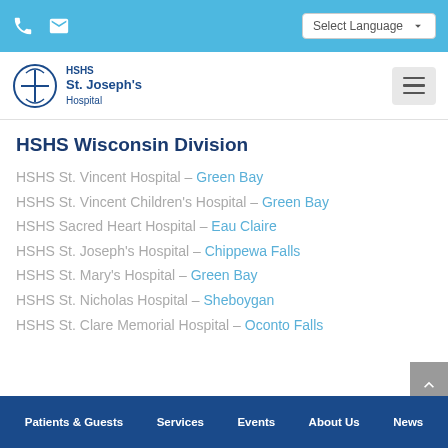Select Language
[Figure (logo): HSHS St. Joseph's Hospital logo with circular emblem]
HSHS Wisconsin Division
HSHS St. Vincent Hospital – Green Bay
HSHS St. Vincent Children's Hospital – Green Bay
HSHS Sacred Heart Hospital – Eau Claire
HSHS St. Joseph's Hospital – Chippewa Falls
HSHS St. Mary's Hospital – Green Bay
HSHS St. Nicholas Hospital – Sheboygan
HSHS St. Clare Memorial Hospital – Oconto Falls
Patients & Guests   Services   Events   About Us   News